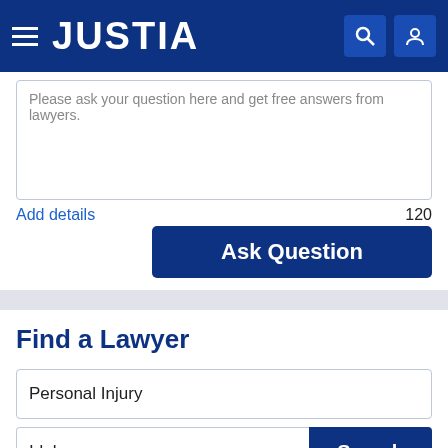JUSTIA
Please ask your question here and get free answers from lawyers.
Add details
120
Ask Question
Find a Lawyer
Personal Injury
Idaho
Search
Lawyers - Get Listed Now!